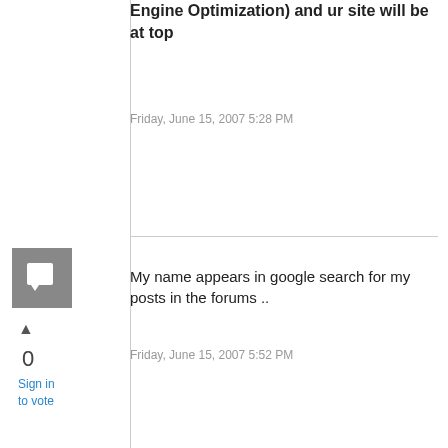Engine Optimization) and ur site will be at top
Friday, June 15, 2007 5:28 PM
[Figure (illustration): Gray square avatar icon with white speech bubble/comment symbol]
▲
0
Sign in
to vote
My name appears in google search for my posts in the forums ..
Friday, June 15, 2007 5:52 PM